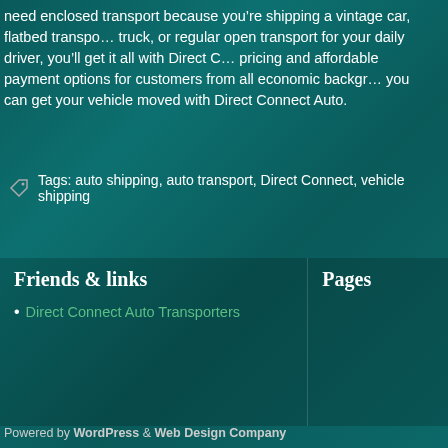need enclosed transport because you’re shipping a vintage car, flatbed transport truck, or regular open transport for your daily driver, you’ll get it all with Direct C… pricing and affordable payment options for customers from all economic backgrounds you can get your vehicle moved with Direct Connect Auto.
Tags: auto shipping, auto transport, Direct Connect, vehicle shipping
Friends & links
Direct Connect Auto Transporters
Pages
Powered by WordPress & Web Design Company